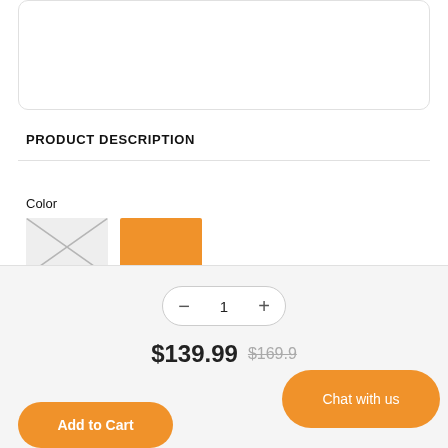[Figure (other): White rounded card area at top of page (empty product image area)]
PRODUCT DESCRIPTION
Color
[Figure (other): Two color swatches: first is gray with X cross (unavailable), second is solid orange]
1
$139.99  $169.9-
Add to Cart
Chat with us